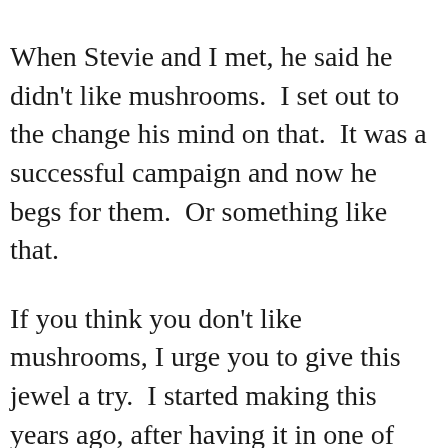When Stevie and I met, he said he didn't like mushrooms.  I set out to the change his mind on that.  It was a successful campaign and now he begs for them.  Or something like that.
If you think you don't like mushrooms, I urge you to give this jewel a try.  I started making this years ago, after having it in one of my favorite little restaurants in Johnson City (no longer in business.)  I think I've finally figured out just how they made it.  I served it at my little soiree this week and thought it'd be easier to share the recipe by